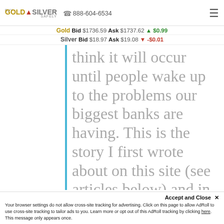BUY GOLD & SILVER SAFELY | 888-604-6534
Gold Bid $1736.59 Ask $1737.62 ▲ $0.99
Silver Bid $18.97 Ask $19.08 ▼ -$0.01
think it will occur until people wake up to the problems our biggest banks are having. This is the story I first wrote about on this site (see articles below) and in my book,
Accept and Close ✕
Your browser settings do not allow cross-site tracking for advertising. Click on this page to allow AdRoll to use cross-site tracking to tailor ads to you. Learn more or opt out of this AdRoll tracking by clicking here. This message only appears once.